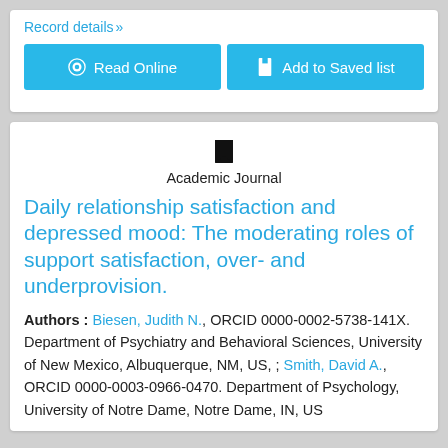Record details»
Read Online
Add to Saved list
[Figure (logo): Bookmark icon]
Academic Journal
Daily relationship satisfaction and depressed mood: The moderating roles of support satisfaction, over- and underprovision.
Authors : Biesen, Judith N., ORCID 0000-0002-5738-141X. Department of Psychiatry and Behavioral Sciences, University of New Mexico, Albuquerque, NM, US, ; Smith, David A., ORCID 0000-0003-0966-0470. Department of Psychology, University of Notre Dame, Notre Dame, IN, US